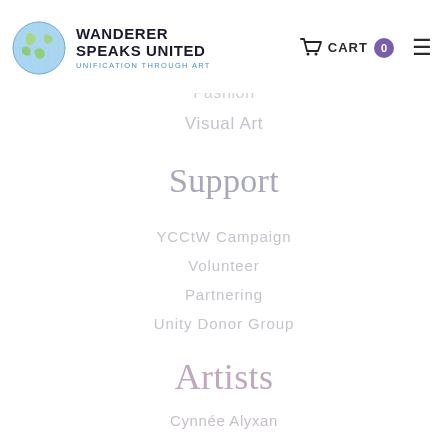WANDERER SPEAKS UNITED — UNIFICATION THROUGH ART | CART 0 | Menu
Fashion
Visual Art
Support
YCCtW Campaign
Volunteer
Partnering
Unity Donor Group
Artists
Cynnée Alyxan